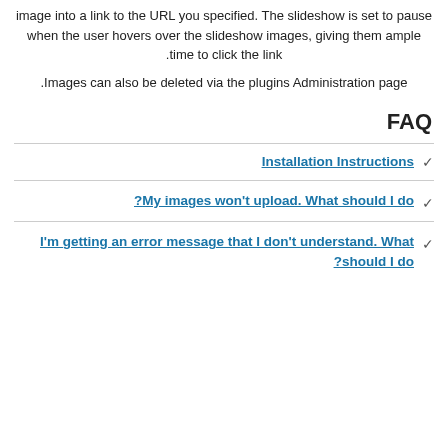image into a link to the URL you specified. The slideshow is set to pause when the user hovers over the slideshow images, giving them ample time to click the link.
Images can also be deleted via the plugins Administration page.
FAQ
Installation Instructions
My images won't upload. What should I do?
I'm getting an error message that I don't understand. What should I do?